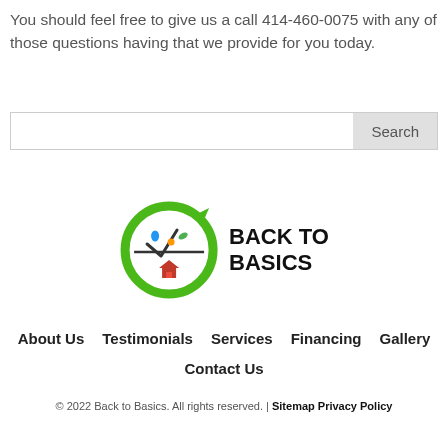You should feel free to give us a call 414-460-0075 with any of those questions having that we provide for you today.
[Figure (screenshot): Search bar with text input field and a 'Search' button on the right]
[Figure (logo): Back to Basics logo: green circular arrow with house and cleaning icons inside, text 'BACK TO BASICS' in bold black]
About Us
Testimonials
Services
Financing
Gallery
Contact Us
© 2022 Back to Basics. All rights reserved. | Sitemap Privacy Policy